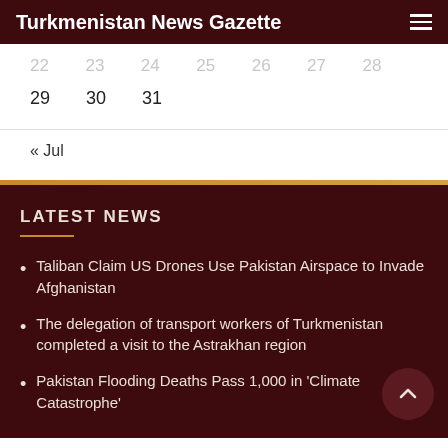Turkmenistan News Gazette
| 22 | 23 | 24 | 25 | 26 | 27 | 28 |
| 29 | 30 | 31 |  |  |  |  |
« Jul
LATEST NEWS
Taliban Claim US Drones Use Pakistan Airspace to Invade Afghanistan
The delegation of transport workers of Turkmenistan completed a visit to the Astrakhan region
Pakistan Flooding Deaths Pass 1,000 in 'Climate Catastrophe'